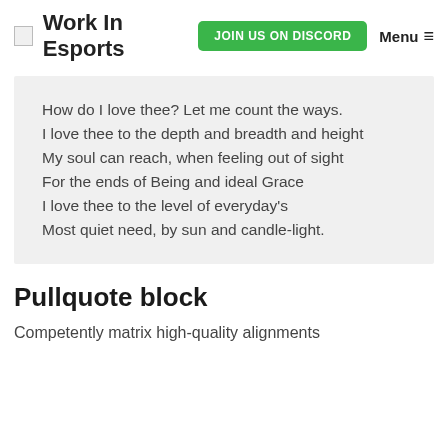Work In Esports | JOIN US ON DISCORD | Menu
How do I love thee? Let me count the ways.
I love thee to the depth and breadth and height
My soul can reach, when feeling out of sight
For the ends of Being and ideal Grace
I love thee to the level of everyday's
Most quiet need, by sun and candle-light.
Pullquote block
Competently matrix high-quality alignments